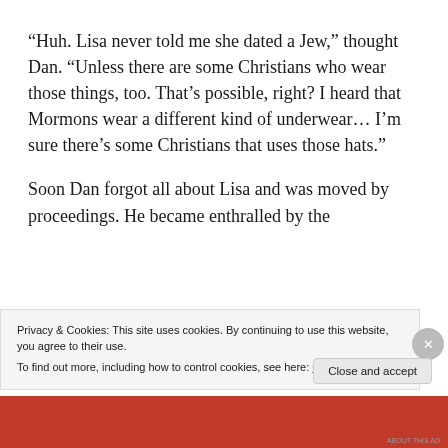“Huh. Lisa never told me she dated a Jew,” thought Dan. “Unless there are some Christians who wear those things, too. That’s possible, right? I heard that Mormons wear a different kind of underwear… I’m sure there’s some Christians that uses those hats.”

Soon Dan forgot all about Lisa and was moved by proceedings. He became enthralled by the
Privacy & Cookies: This site uses cookies. By continuing to use this website, you agree to their use.
To find out more, including how to control cookies, see here: Cookie Policy
Close and accept
ABOUT THIS AD